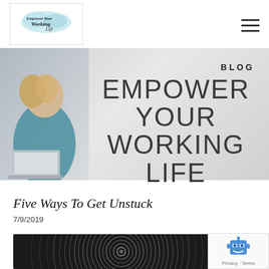[Figure (logo): Empower Your Working Life logo with watercolor style text and cloud graphic]
[Figure (photo): Woman with blonde hair sitting with a laptop, wearing a blue top, against a light grey background]
BLOG
EMPOWER YOUR WORKING LIFE
Five Ways To Get Unstuck
7/9/2019
[Figure (photo): Close-up black and white photo of concentric circles, possibly a vinyl record or spiral pattern]
[Figure (other): Google reCAPTCHA badge with robot icon and Privacy - Terms text]